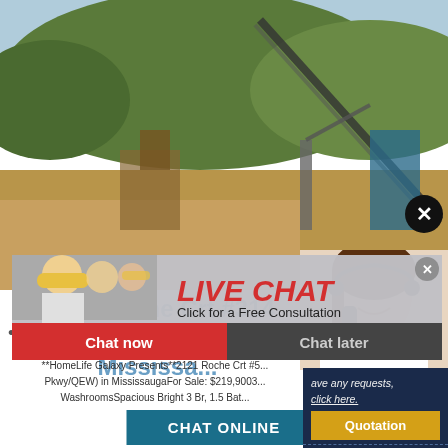[Figure (photo): Industrial mining site with conveyor belt, machinery and hillside vegetation in background]
[Figure (photo): Live chat popup overlay showing workers in yellow hard hats and a customer service woman with headset. Red 'LIVE CHAT' heading, 'Click for a Free Consultation' text, Chat now (red) and Chat later (dark) buttons.]
2121 Roche Crt #314 (Bloor/Dixie Pkwy/QEW) in Mississa...
**HomeLife Galaxy Presents**2121 Roche Crt #5... Pkwy/QEW) in MississaugaFor Sale: $219,9003... WashroomsSpacious Bright 3 Br, 1.5 Bat...
CHAT ONLINE
ave any requests, click here.
Quotation
Enquiry
limingjlmofen@sina.com